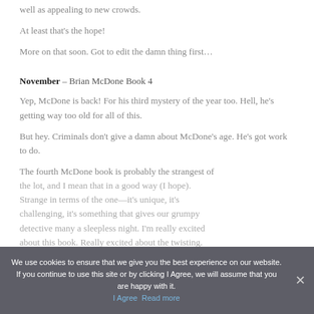well as appealing to new crowds.
At least that's the hope!
More on that soon. Got to edit the damn thing first…
November – Brian McDone Book 4
Yep, McDone is back! For his third mystery of the year too. Hell, he's getting way too old for all of this.
But hey. Criminals don't give a damn about McDone's age. He's got work to do.
The fourth McDone book is probably the strangest of the lot, and I mean that in a good way (I hope). Strange in terms of the one—it's unique, it's challenging, it's something that gives our grumpy detective many a sleepless night. I'm really excited about this book. Really excited about the twisting.
We use cookies to ensure that we give you the best experience on our website. If you continue to use this site or by clicking I Agree, we will assume that you are happy with it.